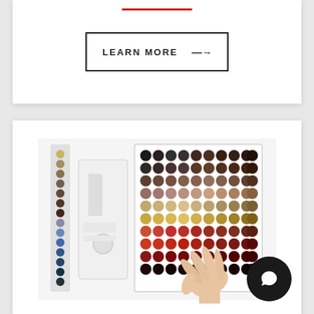[Figure (other): Red horizontal decorative line/divider at top of white card section]
LEARN MORE -->
[Figure (photo): Photo of a hair color swatch board system showing a grid of circular color swatches in various brown, red, and dark tones, with a white device/dispenser on the left and a hand touching the swatches on the right.]